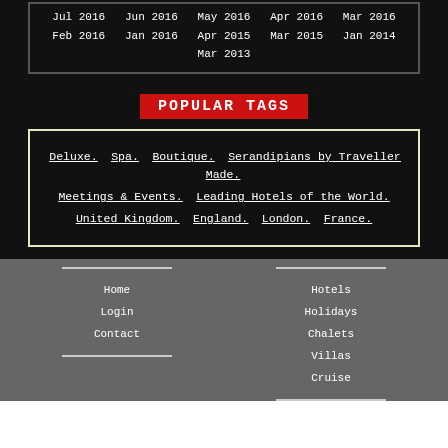Jul 2016  Jun 2016  May 2016  Apr 2016  Mar 2016  Feb 2016  Jan 2016  Apr 2015  Mar 2015  Jan 2014  Mar 2013
POPULAR TAGS
Deluxe. Spa. Boutique. Serandipians by Traveller Made. Meetings & Events. Leading Hotels of the World. United Kingdom. England. London. France.
Home
Login
Contact
Hotels
Holidays
Chalets
Villas
Cruise